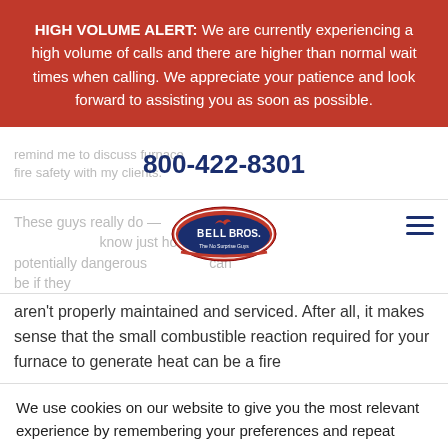HIGH VOLUME ALERT: We are currently experiencing a high volume of calls and there are higher than normal wait times when calling. We appreciate your patience and look forward to assisting you as soon as possible.
remind me to discuss furnace fire safety with my clients.
800-422-8301
[Figure (logo): Bell Bros. logo — oval shape with red, white and blue coloring, text 'Bell Bros.' and tagline 'The No Surprise Guys']
These guys really do — know just how potentially dangerous — can be if they aren't properly maintained and serviced. After all, it makes sense that the small combustible reaction required for your furnace to generate heat can be a fire
We use cookies on our website to give you the most relevant experience by remembering your preferences and repeat visits. By clicking “Accept”, you consent to the use of ALL the cookies.
Cookie settings
ACCEPT